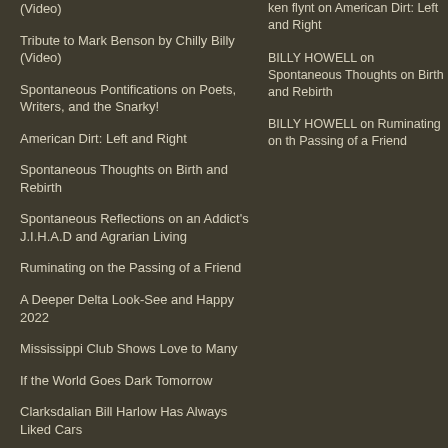(Video)
Tribute to Mark Benson by Chilly Billy (Video)
Spontaneous Pontifications on Poets, Writers, and the Snarky!
American Dirt: Left and Right
Spontaneous Thoughts on Birth and Rebirth
Spontaneous Reflections on an Addict's J.I.H.A.D and Agrarian Living
Ruminating on the Passing of a Friend
A Deeper Delta Look-See and Happy 2022
Mississippi Club Shows Love to Many
If the World Goes Dark Tomorrow
Clarksdalian Bill Harlow Has Always Liked Cars
ken flynt on American Dirt: Left and Right
BILLY HOWELL on Spontaneous Thoughts on Birth and Rebirth
BILLY HOWELL on Ruminating on the Passing of a Friend